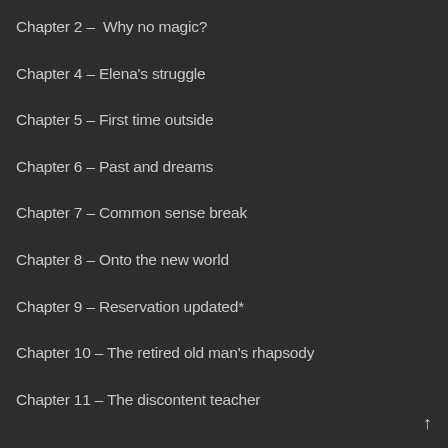Chapter 2 –  Why no magic?
Chapter 4 – Elena's struggle
Chapter 5 – First time outside
Chapter 6 – Past and dreams
Chapter 7 – Common sense break
Chapter 8 – Onto the new world
Chapter 9 – Reservation updated*
Chapter 10 – The retired old man's rhapsody
Chapter 11 – The discontent teacher